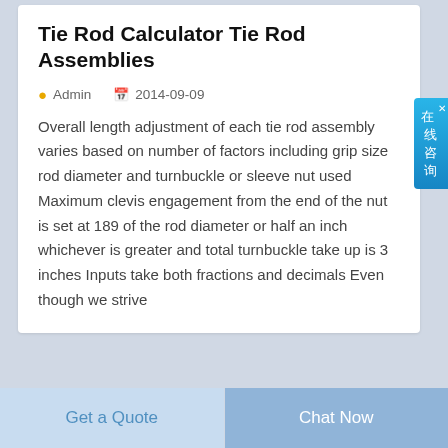Tie Rod Calculator Tie Rod Assemblies
Admin   2014-09-09
Overall length adjustment of each tie rod assembly varies based on number of factors including grip size rod diameter and turnbuckle or sleeve nut used Maximum clevis engagement from the end of the nut is set at 189 of the rod diameter or half an inch whichever is greater and total turnbuckle take up is 3 inches Inputs take both fractions and decimals Even though we strive
[Figure (photo): Partial view of a tie rod assembly product image (blue/white) and a gray striped assembly component]
Get a Quote
Chat Now